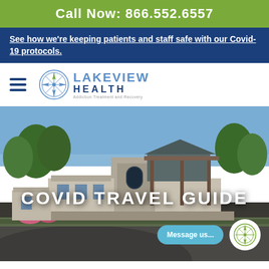Call Now: 866.552.6557
See how we're keeping patients and staff safe with our Covid-19 protocols.
[Figure (logo): Lakeview Health - Addiction Treatment and Recovery logo with compass rose]
[Figure (photo): Exterior photo of Lakeview Health facility building with parking lot and landscaping]
COVID TRAVEL GUIDE